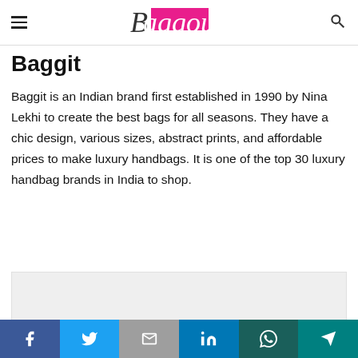Baggout (logo/navigation header)
Baggit
Baggit is an Indian brand first established in 1990 by Nina Lekhi to create the best bags for all seasons. They have a chic design, various sizes, abstract prints, and affordable prices to make luxury handbags. It is one of the top 30 luxury handbag brands in India to shop.
[Figure (other): Advertisement placeholder box (light grey rectangle)]
Social share bar: Facebook, Twitter, Email, LinkedIn, WhatsApp, Telegram